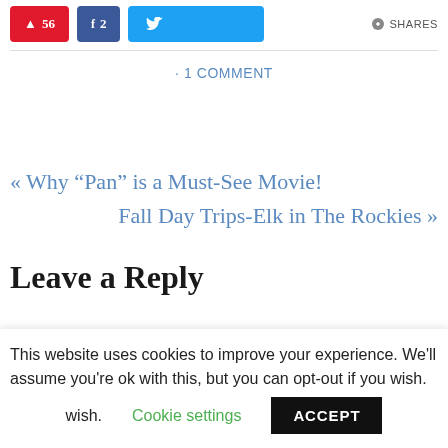[Figure (screenshot): Social share buttons: Pinterest (red, 56), Facebook (blue, 2), Twitter (light blue), and SHARES label with icon]
· 1 COMMENT
« Why “Pan” is a Must-See Movie!
Fall Day Trips-Elk in The Rockies »
Leave a Reply
This website uses cookies to improve your experience. We'll assume you're ok with this, but you can opt-out if you wish.
Cookie settings  ACCEPT